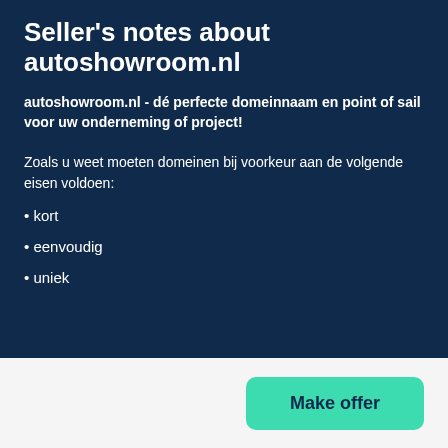Seller's notes about autoshowroom.nl
autoshowroom.nl - dé perfecte domeinnaam en point of sail voor uw onderneming of project!
Zoals u weet moeten domeinen bij voorkeur aan de volgende eisen voldoen:
• kort
• eenvoudig
• uniek
Make offer